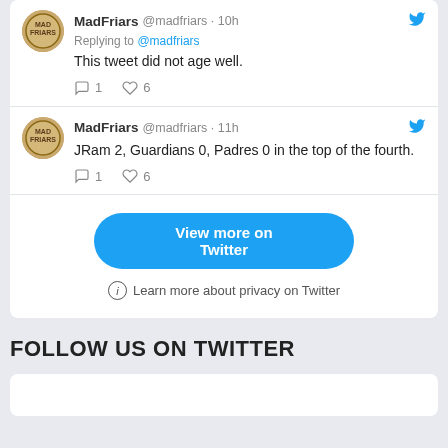[Figure (screenshot): Twitter/X embedded tweet widget showing two tweets from MadFriars account, a 'View more on Twitter' button, a 'Learn more about privacy on Twitter' link, and a 'FOLLOW US ON TWITTER' section heading with a follow card at the bottom.]
MadFriars @madfriars · 10h
Replying to @madfriars
This tweet did not age well.
💬 1   ♡ 6
MadFriars @madfriars · 11h
JRam 2, Guardians 0, Padres 0 in the top of the fourth.
💬 1   ♡ 6
View more on Twitter
ⓘ Learn more about privacy on Twitter
FOLLOW US ON TWITTER